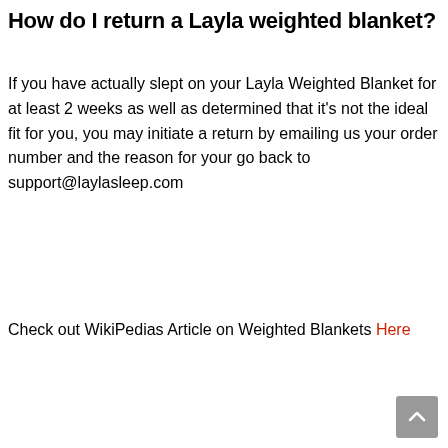How do I return a Layla weighted blanket?
If you have actually slept on your Layla Weighted Blanket for at least 2 weeks as well as determined that it's not the ideal fit for you, you may initiate a return by emailing us your order number and the reason for your go back to support@laylasleep.com
Check out WikiPedias Article on Weighted Blankets Here